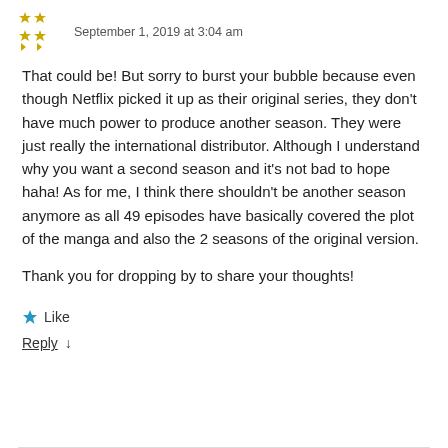September 1, 2019 at 3:04 am
That could be! But sorry to burst your bubble because even though Netflix picked it up as their original series, they don't have much power to produce another season. They were just really the international distributor. Although I understand why you want a second season and it's not bad to hope haha! As for me, I think there shouldn't be another season anymore as all 49 episodes have basically covered the plot of the manga and also the 2 seasons of the original version.
Thank you for dropping by to share your thoughts!
Like
Reply ↓